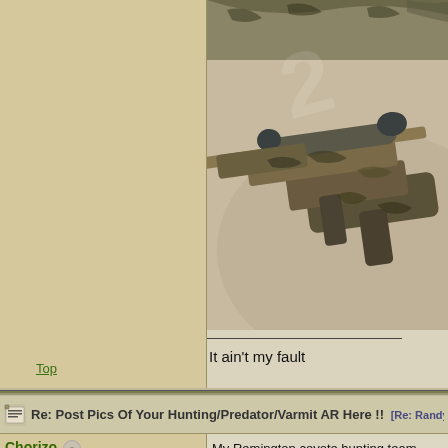[Figure (photo): Camouflage-painted rifle with scope lying on carpet floor]
It ain't my fault
Top
Re: Post Pics Of Your Hunting/Predator/Varmit AR Here !! [Re: Randy
Chorizo
Seasoned Member
Registered: 03/24/09
My Remington coyote hunting team (also
Model 7 .223 with Leupold VX-IIc 6X18 w